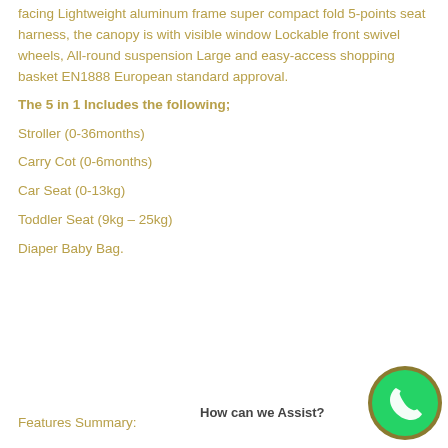facing Lightweight aluminum frame  super compact fold 5-points seat harness, the canopy is with visible window Lockable front swivel wheels, All-round suspension Large and easy-access shopping basket EN1888 European standard approval.
The 5 in 1 Includes the following;
Stroller (0-36months)
Carry Cot (0-6months)
Car Seat (0-13kg)
Toddler Seat (9kg – 25kg)
Diaper Baby Bag.
Features Summary:
[Figure (logo): WhatsApp chat button icon — green circle with phone handset, with 'How can we Assist?' text]